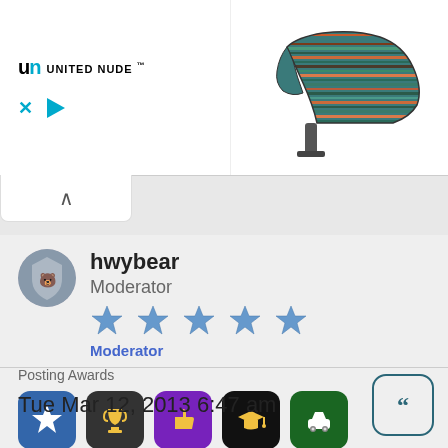[Figure (screenshot): Advertisement banner for United Nude showing a multicolored striped high-heel shoe. Logo reads 'UN UNITED NUDE ™' with close (X) and play button controls.]
hwybear
Moderator
[Figure (illustration): Five blue star icons representing user rating]
Moderator
Posting Awards
[Figure (illustration): Five award badge icons: blue star, dark trophy, purple thumbs-up, black graduation cap, green car]
Moderator
[Figure (illustration): Blue shield badge icon]
Tue Mar 12, 2013 6:47 am